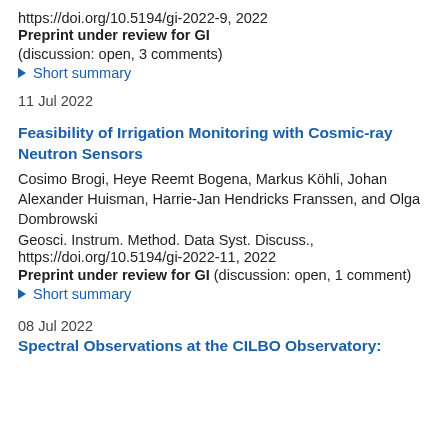https://doi.org/10.5194/gi-2022-9, 2022
Preprint under review for GI
(discussion: open, 3 comments)
▶ Short summary
11 Jul 2022
Feasibility of Irrigation Monitoring with Cosmic-ray Neutron Sensors
Cosimo Brogi, Heye Reemt Bogena, Markus Köhli, Johan Alexander Huisman, Harrie-Jan Hendricks Franssen, and Olga Dombrowski
Geosci. Instrum. Method. Data Syst. Discuss., https://doi.org/10.5194/gi-2022-11, 2022
Preprint under review for GI (discussion: open, 1 comment)
▶ Short summary
08 Jul 2022
Spectral Observations at the CILBO Observatory: